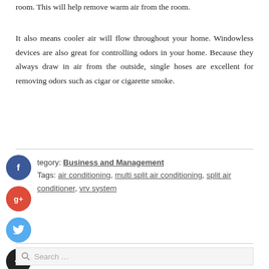room. This will help remove warm air from the room.
It also means cooler air will flow throughout your home. Windowless devices are also great for controlling odors in your home. Because they always draw in air from the outside, single hoses are excellent for removing odors such as cigar or cigarette smoke.
Category: Business and Management
Tags: air conditioning, multi split air conditioning, split air conditioner, vrv system